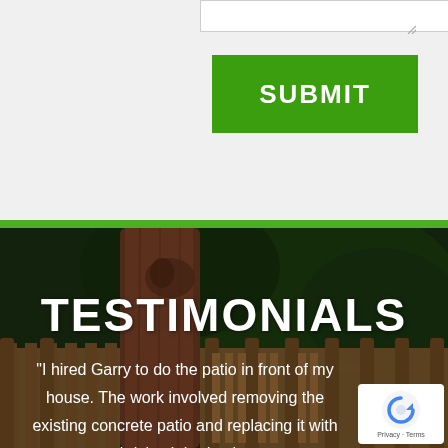[Figure (screenshot): White textarea input box with resize handle in bottom-right corner, on a light grey background]
[Figure (screenshot): Green SUBMIT button with white bold text]
[Figure (photo): Background photo of a wooden fence and large tree trunk with dark green foliage behind it, forming the testimonials section background]
TESTIMONIALS
"I hired Garry to do the patio in front of my house. The work involved removing the existing concrete patio and replacing it with bricks. It had to be
[Figure (logo): Google reCAPTCHA badge with blue circular arrow icon and Privacy/Terms text on white background]